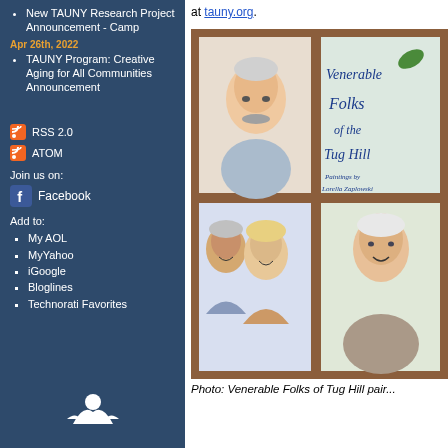New TAUNY Research Project Announcement - Camp
Apr 26th, 2022
TAUNY Program: Creative Aging for All Communities Announcement
RSS 2.0
ATOM
Join us on:
Facebook
Add to:
My AOL
MyYahoo
iGoogle
Bloglines
Technorati Favorites
at tauny.org.
[Figure (photo): Photo of a window frame artwork display showing four panels: upper left shows a painted portrait of an older man with mustache, upper right shows text reading 'Venerable Folks of the Tug Hill Paintings by Lorella Zaplowski', lower panels show more painted portraits of elderly people.]
Photo: Venerable Folks of Tug Hill pair...